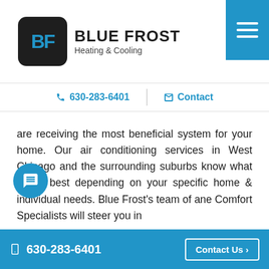[Figure (logo): Blue Frost Heating & Cooling logo with BF monogram in dark rounded square box and company name text]
630-283-6401   Contact
are receiving the most beneficial system for your home. Our air conditioning services in West Chicago and the surrounding suburbs know what works best depending on your specific home & individual needs. Blue Frost's team of ane Comfort Specialists will steer you in
630-283-6401   Contact Us ›